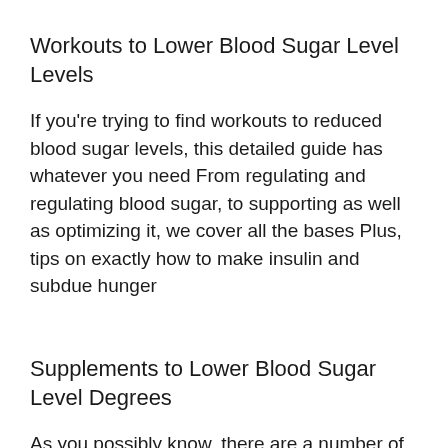Workouts to Lower Blood Sugar Level Levels
If you're trying to find workouts to reduced blood sugar levels, this detailed guide has whatever you need From regulating and regulating blood sugar, to supporting as well as optimizing it, we cover all the bases Plus, tips on exactly how to make insulin and subdue hunger
Supplements to Lower Blood Sugar Level Degrees
As you possibly know, there are a number of things you can do to lower blood sugar level